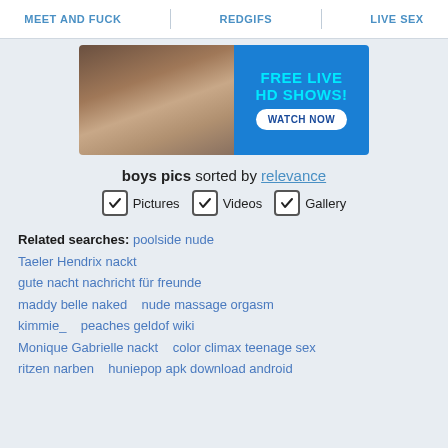MEET AND FUCK   REDGIFS   LIVE SEX
[Figure (photo): Advertisement banner: photo of woman on left, blue background on right with text 'FREE LIVE HD SHOWS!' in cyan and 'WATCH NOW' button in white]
boys pics sorted by relevance
✓ Pictures   ✓ Videos   ✓ Gallery
Related searches: poolside nude
Taeler Hendrix nackt
gute nacht nachricht für freunde
maddy belle naked   nude massage orgasm
kimmie_   peaches geldof wiki
Monique Gabrielle nackt   color climax teenage sex
ritzen narben   huniepop apk download android